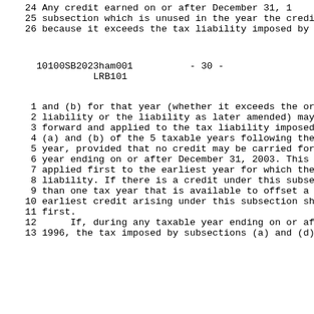24    Any credit earned on or after December 31, 1
25    subsection which is unused in the year the credi
26    because it exceeds the tax liability imposed by
10100SB2023ham001          - 30 -          LRB101
1     and (b) for that year (whether it exceeds the or
2     liability or the liability as later amended) may
3     forward and applied to the tax liability imposed
4     (a) and (b) of the 5 taxable years following the
5     year, provided that no credit may be carried for
6     year ending on or after December 31, 2003. This
7     applied first to the earliest year for which the
8     liability. If there is a credit under this subse
9     than one tax year that is available to offset a
10    earliest credit arising under this subsection sh
11    first.
12         If, during any taxable year ending on or aft
13    1996, the tax imposed by subsections (a) and (d)